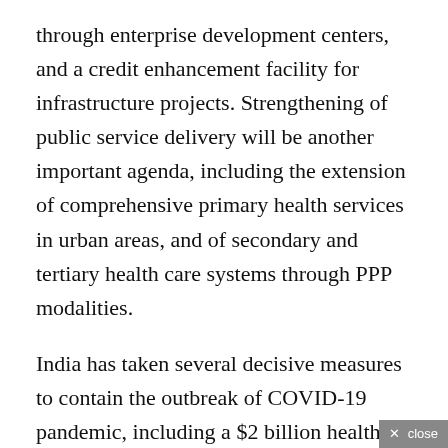through enterprise development centers, and a credit enhancement facility for infrastructure projects. Strengthening of public service delivery will be another important agenda, including the extension of comprehensive primary health services in urban areas, and of secondary and tertiary health care systems through PPP modalities.
India has taken several decisive measures to contain the outbreak of COVID-19 pandemic, including a $2 billion health sector spending programme to expand hospital facilities, ramp up test-track-treatment capacity and launched a $23 billion pro-poor package to provide direct cash transfer, provide basic consumption goods and free cooking gas cylinders to the poor,